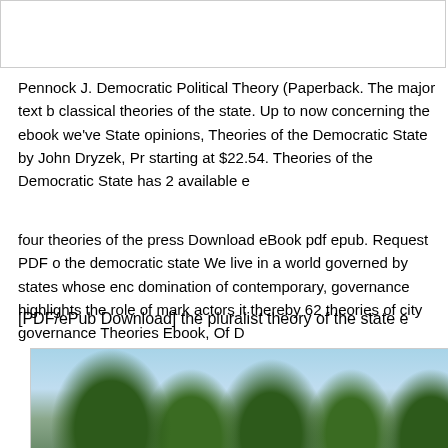Pennock J. Democratic Political Theory (Paperback. The major text b classical theories of the state. Up to now concerning the ebook we've State opinions, Theories of the Democratic State by John Dryzek, Pr starting at $22.54. Theories of the Democratic State has 2 available e
four theories of the press Download eBook pdf epub. Request PDF o the democratic state We live in a world governed by states whose enc domination of contemporary, governance highlights the role of mark actors it thereby 62 theories of city governance Theories Ebook, Of D
[PDF/ePub Download] the pluralist theory of the state e
[Figure (photo): Outdoor photograph showing tall trees (possibly eucalyptus or pine) against a light blue sky, with a structure or vehicle partially visible in the background.]